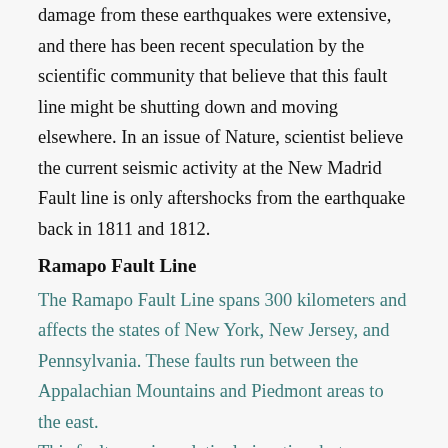damage from these earthquakes were extensive, and there has been recent speculation by the scientific community that believe that this fault line might be shutting down and moving elsewhere. In an issue of Nature, scientist believe the current seismic activity at the New Madrid Fault line is only aftershocks from the earthquake back in 1811 and 1812.
Ramapo Fault Line
The Ramapo Fault Line spans 300 kilometers and affects the states of New York, New Jersey, and Pennsylvania. These faults run between the Appalachian Mountains and Piedmont areas to the east.
This fault remains relatively inactive, but scientists believe that it could produce some serious earthquakes. There was a study completed in 2008 that believes a 6 – 7 magnitude earthquake will very likely occur from this